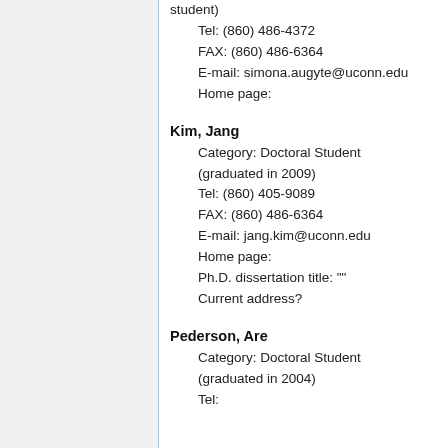student)
Tel: (860) 486-4372
FAX: (860) 486-6364
E-mail: simona.augyte@uconn.edu
Home page:
Kim, Jang
Category: Doctoral Student (graduated in 2009)
Tel: (860) 405-9089
FAX: (860) 486-6364
E-mail: jang.kim@uconn.edu
Home page:
Ph.D. dissertation title: ""
Current address?
Pederson, Are
Category: Doctoral Student (graduated in 2004)
Tel: